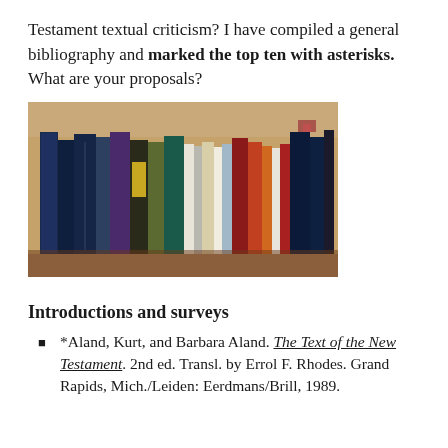Testament textual criticism? I have compiled a general bibliography and marked the top ten with asterisks. What are your proposals?
[Figure (photo): A photograph of a bookshelf filled with various books on New Testament textual criticism, showing many book spines of different colors including blue, purple, green, yellow, red, white, and orange.]
Introductions and surveys
*Aland, Kurt, and Barbara Aland. The Text of the New Testament. 2nd ed. Transl. by Errol F. Rhodes. Grand Rapids, Mich./Leiden: Eerdmans/Brill, 1989.